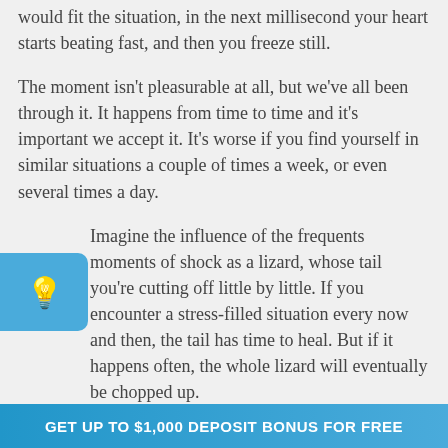would fit the situation, in the next millisecond your heart starts beating fast, and then you freeze still.
The moment isn't pleasurable at all, but we've all been through it. It happens from time to time and it's important we accept it. It's worse if you find yourself in similar situations a couple of times a week, or even several times a day.
[Figure (illustration): Blue rounded rectangle icon box with a yellow lightbulb icon]
Imagine the influence of the frequents moments of shock as a lizard, whose tail you're cutting off little by little. If you encounter a stress-filled situation every now and then, the tail has time to heal. But if it happens often, the whole lizard will eventually be chopped up.
The paradox is that when we're emotionally
GET UP TO $1,000 DEPOSIT BONUS FOR FREE